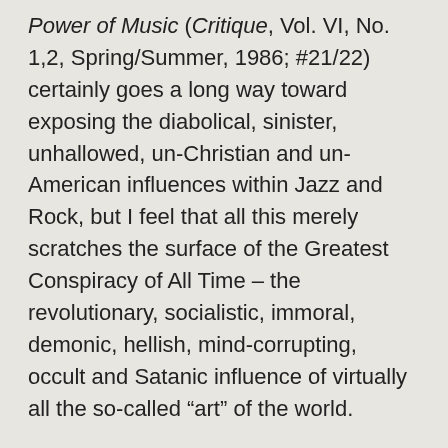Power of Music (Critique, Vol. VI, No. 1,2, Spring/Summer, 1986; #21/22) certainly goes a long way toward exposing the diabolical, sinister, unhallowed, un-Christian and un-American influences within Jazz and Rock, but I feel that all this merely scratches the surface of the Greatest Conspiracy of All Time – the revolutionary, socialistic, immoral, demonic, hellish, mind-corrupting, occult and Satanic influence of virtually all the so-called “art” of the world.
Mr. Tame points out that Rock derives from Jazz which possibly derives from voodoo, and that voodoo is certainly evil because some people who dislike Blacks have alleged that Voodoo involves animal and (sometimes) human sacrifice. This should, of course, immediately lead us to suspect equally sinister influences at work in the music of Mendelssohn and